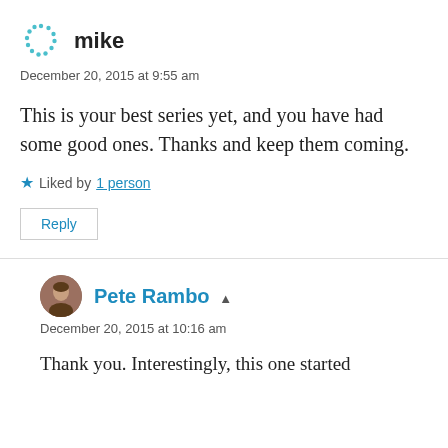[Figure (illustration): Avatar icon for user 'mike' — circular dotted teal pattern]
mike
December 20, 2015 at 9:55 am
This is your best series yet, and you have had some good ones. Thanks and keep them coming.
★ Liked by 1 person
Reply
[Figure (photo): Profile photo of Pete Rambo — round avatar with a person's face]
Pete Rambo ▲
December 20, 2015 at 10:16 am
Thank you. Interestingly, this one started